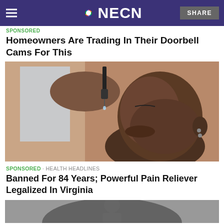NECN
SPONSORED
Homeowners Are Trading In Their Doorbell Cams For This
[Figure (photo): A woman tilting her head back and using a dropper bottle to place drops into her mouth]
SPONSORED · HEALTH HEADLINES
Banned For 84 Years; Powerful Pain Reliever Legalized In Virginia
[Figure (photo): Partially visible image at the bottom of the page, appears to show a person]